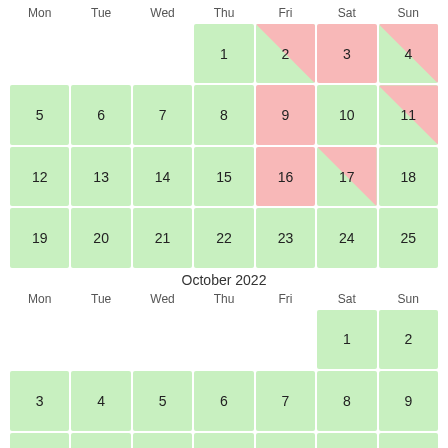[Figure (other): Calendar view for an unnamed month (showing days 1-25+) with green and pink/red highlighted cells indicating availability or booking status. Days Mon-Sun columns. First day of shown weeks starts Thursday with day 1. Pink diagonal splits on Fri 2, Sat 3 (week1); Fri 9 (week2); Fri 16, Sat 17 (week3).]
October 2022
[Figure (other): Calendar for October 2022 Mon-Sun. October 1 falls on Saturday. All cells green. Shows rows: Sat1-Sun2; Mon3-Sun9; Mon10-Sun16; Mon17-Sun23 (partial).]